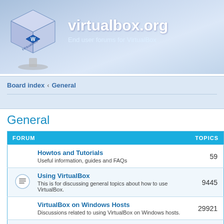[Figure (logo): VirtualBox logo cube with 'VirtualBox' text and 'virtualbox.org' site header]
virtualbox.org
End user forums for VirtualBox
Board index ‹ General
General
| FORUM | TOPICS |
| --- | --- |
| Howtos and Tutorials
Useful information, guides and FAQs | 59 |
| Using VirtualBox
This is for discussing general topics about how to use VirtualBox. | 9445 |
| VirtualBox on Windows Hosts
Discussions related to using VirtualBox on Windows hosts. | 29921 |
| VirtualBox on Linux Hosts
Discussions related to using VirtualBox on Linux hosts. | 18636 |
| VirtualBox on Mac OS X Hosts
Discussions related to using VirtualBox on Mac OS X hosts. | 9205 |